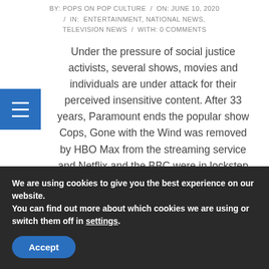BY: POPS ON POP CULTURE / ON: JUNE 10, 2020 / IN: ENTERTAINMENT, NATIONAL NEWS, TELEVISION NEWS / WITH: 0 COMMENTS
Under the pressure of social justice activists, several shows, movies and individuals are under attack for their perceived insensitive content. After 33 years, Paramount ends the popular show Cops, Gone with the Wind was removed by HBO Max from the streaming service and Netflix and the BBC were in lockstep over the decision to
CONTINUE READING
We are using cookies to give you the best experience on our website.
You can find out more about which cookies we are using or switch them off in settings.
Accept